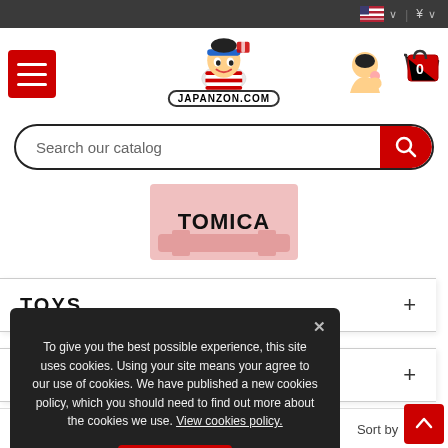Top navigation bar with language/currency selectors
[Figure (logo): Japanzon.com website header with hamburger menu, cartoon logo character, user icon, and cart icon showing 0 items]
Search our catalog
[Figure (illustration): TOMICA category banner with light red/pink background]
TOYS
+
Sort by
To give you the best possible experience, this site uses cookies. Using your site means your agree to our use of cookies. We have published a new cookies policy, which you should need to find out more about the cookies we use. View cookies policy.
Accept